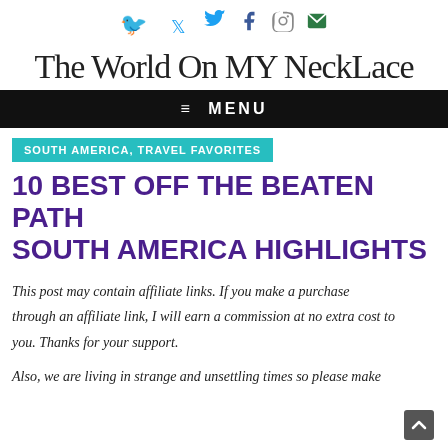Social icons: Twitter, Facebook, Pinterest, Instagram, Email
The World On MY NeckLace
≡ MENU
SOUTH AMERICA, TRAVEL FAVORITES
10 BEST OFF THE BEATEN PATH SOUTH AMERICA HIGHLIGHTS
This post may contain affiliate links. If you make a purchase through an affiliate link, I will earn a commission at no extra cost to you. Thanks for your support.
Also, we are living in strange and unsettling times so please make